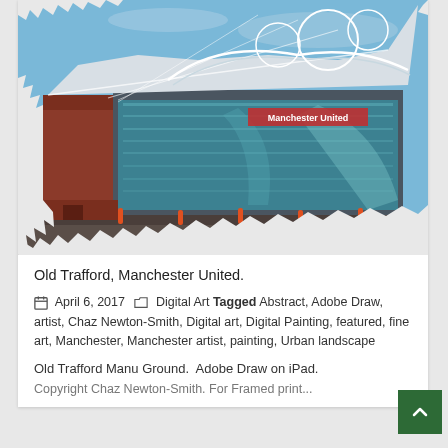[Figure (photo): Old Trafford, Manchester United football stadium, exterior view showing the main stand with glass facade and distinctive white roof structure. The image has a painted/digital art effect with blue sky and a torn-paper style border effect.]
Old Trafford, Manchester United.
April 6, 2017  Digital Art Tagged Abstract, Adobe Draw, artist, Chaz Newton-Smith, Digital art, Digital Painting, featured, fine art, Manchester, Manchester artist, painting, Urban landscape
Old Trafford Manu Ground.  Adobe Draw on iPad.  Copyright Chaz Newton-Smith. For Framed print...